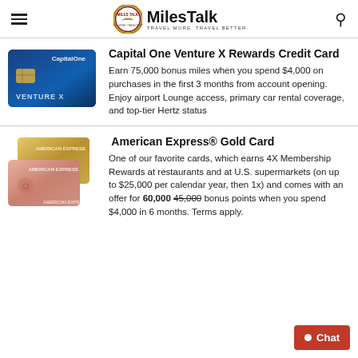MilesTalk — TRAVEL MORE. TRAVEL BETTER.
[Figure (illustration): Capital One Venture X credit card (blue metallic card)]
Capital One Venture X Rewards Credit Card
Earn 75,000 bonus miles when you spend $4,000 on purchases in the first 3 months from account opening. Enjoy airport Lounge access, primary car rental coverage, and top-tier Hertz status
[Figure (illustration): American Express Gold Card and Platinum Card stacked]
American Express® Gold Card
One of our favorite cards, which earns 4X Membership Rewards at restaurants and at U.S. supermarkets (on up to $25,000 per calendar year, then 1x) and comes with an offer for 60,000 45,000 bonus points when you spend $4,000 in 6 months. Terms apply.